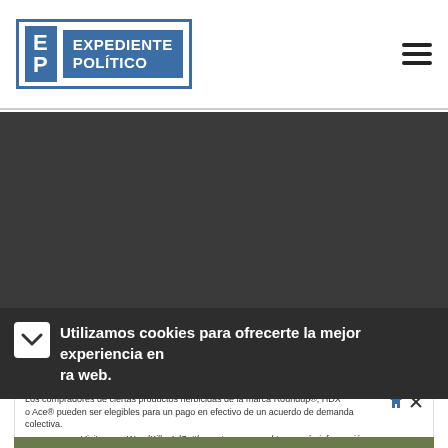Expediente Político
[Figure (other): Dark gray placeholder/video area spanning full width]
Utilizamos cookies para ofrecerte la mejor experiencia en ra web.
Los compradores de ciertos productos herbicidas de la marca Roundup®, HDX o Ace® pueden ser elegibles para un pago en efectivo de un acuerdo de demanda colectiva. Visite www.WeedKillerAdSettlement.com para obtener más información.
[Figure (photo): Stone pathway with yellow flowers and green plants between stones]